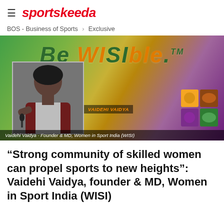sportskeeda
BOS - Business of Sports > Exclusive
[Figure (photo): Promotional banner for 'Be WISIble' campaign with photo of Vaidehi Vaidya - Founder & MD, Women in Sport India (WISI), shown speaking at an event. Green to purple gradient background with WISI logo tiles in bottom right corner.]
“Strong community of skilled women can propel sports to new heights”: Vaidehi Vaidya, founder & MD, Women in Sport India (WISI)